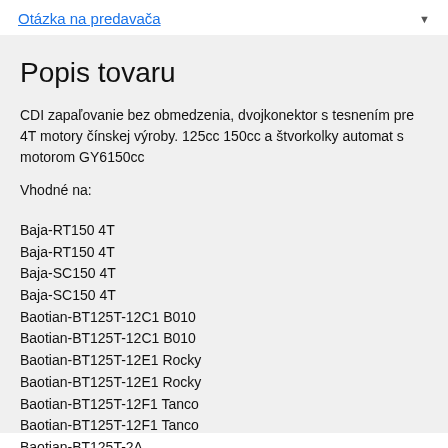Otázka na predavača
Popis tovaru
CDI zapaľovanie bez obmedzenia, dvojkonektor s tesnením pre 4T motory čínskej výroby. 125cc 150cc a štvorkolky automat s motorom GY6150cc
Vhodné na:
Baja-RT150 4T
Baja-RT150 4T
Baja-SC150 4T
Baja-SC150 4T
Baotian-BT125T-12C1 B010
Baotian-BT125T-12C1 B010
Baotian-BT125T-12E1 Rocky
Baotian-BT125T-12E1 Rocky
Baotian-BT125T-12F1 Tanco
Baotian-BT125T-12F1 Tanco
Baotian-BT125T-2A
Baotian-BT125T-2A